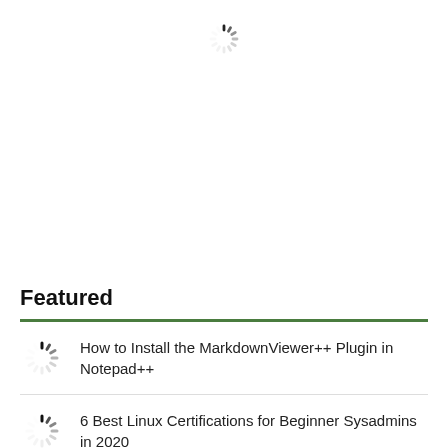[Figure (illustration): Loading spinner icon centered near top of page]
Featured
[Figure (illustration): Loading spinner thumbnail for first featured item]
How to Install the MarkdownViewer++ Plugin in Notepad++
[Figure (illustration): Loading spinner thumbnail for second featured item]
6 Best Linux Certifications for Beginner Sysadmins in 2020